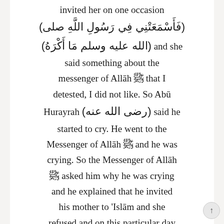invited her on one occasion (فَأَسْمَعَتْنِي فِي رَسُولِ اللَّهِ صلى (الله عليه وسلم مَا أَكْرَهُ) and she said something about the messenger of Allāh ﷺ that I detested, I did not like. So Abū Hurayrah (رضى الله عنه) said he started to cry. He went to the Messenger of Allāh ﷺ and he was crying. So the Messenger of Allāh ﷺ asked him why he was crying and he explained that he invited his mother to 'Islām and she refused and on this particular day